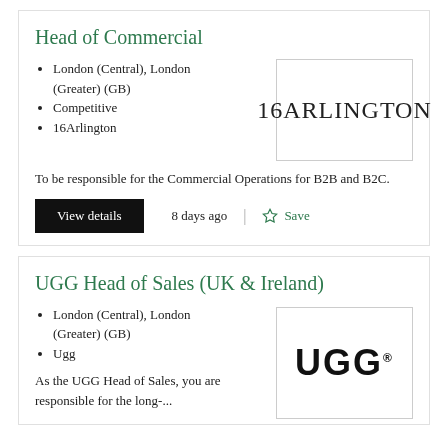Head of Commercial
London (Central), London (Greater) (GB)
Competitive
16Arlington
[Figure (logo): 16ARLINGTON brand logo text in serif font inside a bordered rectangle]
To be responsible for the Commercial Operations for B2B and B2C.
View details  8 days ago  Save
UGG Head of Sales (UK & Ireland)
London (Central), London (Greater) (GB)
Ugg
[Figure (logo): UGG brand logo in bold black sans-serif font inside a bordered rectangle]
As the UGG Head of Sales, you are responsible for the long-...